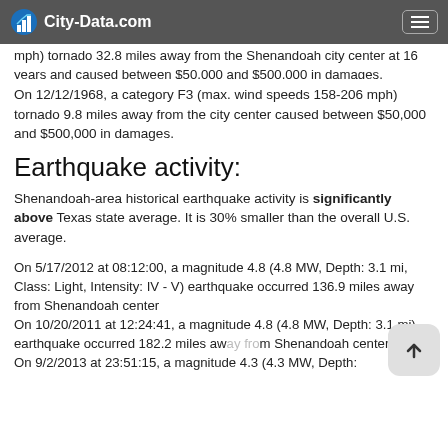City-Data.com
mph) tornado 32.8 miles away from the Shenandoah city center at 16 years and caused between $50,000 and $500,000 in damages.
On 12/12/1968, a category F3 (max. wind speeds 158-206 mph) tornado 9.8 miles away from the city center caused between $50,000 and $500,000 in damages.
Earthquake activity:
Shenandoah-area historical earthquake activity is significantly above Texas state average. It is 30% smaller than the overall U.S. average.
On 5/17/2012 at 08:12:00, a magnitude 4.8 (4.8 MW, Depth: 3.1 mi, Class: Light, Intensity: IV - V) earthquake occurred 136.9 miles away from Shenandoah center
On 10/20/2011 at 12:24:41, a magnitude 4.8 (4.8 MW, Depth: 3.1 mi) earthquake occurred 182.2 miles away from Shenandoah center
On 9/2/2013 at 23:51:15, a magnitude 4.3 (4.3 MW, Depth: